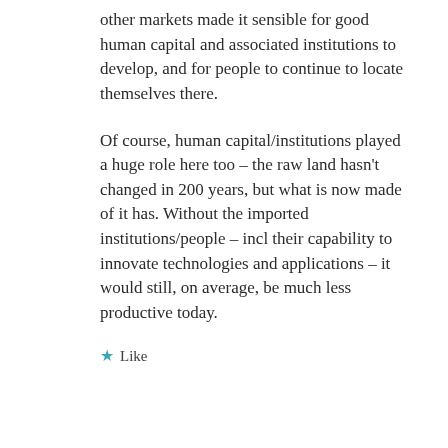other markets made it sensible for good human capital and associated institutions to develop, and for people to continue to locate themselves there.
Of course, human capital/institutions played a huge role here too – the raw land hasn't changed in 200 years, but what is now made of it has. Without the imported institutions/people – incl their capability to innovate technologies and applications – it would still, on average, be much less productive today.
★ Like